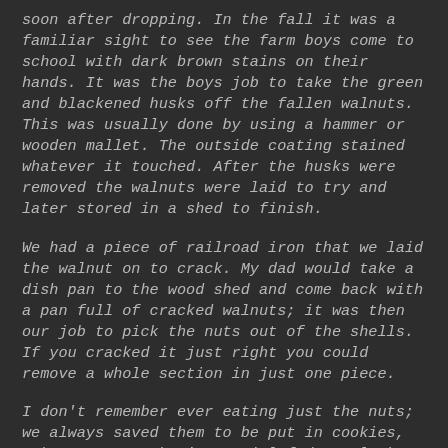soon after dropping. In the fall it was a familiar sight to see the farm boys come to school with dark brown stains on their hands. It was the boys job to take the green and blackened husks off the fallen walnuts. This was usually done by using a hammer or wooden mallet. The outside coating stained whatever it touched. After the husks were removed the walnuts were laid to try and later stored in a shed to finish.
We had a piece of railroad iron that we laid the walnut on to crack. My dad would take a dish pan to the wood shed and come back with a pan full of cracked walnuts; it was then our job to pick the nuts out of the shells. If you cracked it just right you could remove a whole section in just one piece.
I don't remember ever eating just the nuts; we always saved them to be put in cookies, cake, or my mother's special fudge. Black walnuts have a much stronger flavor than an English walnut; today they are very